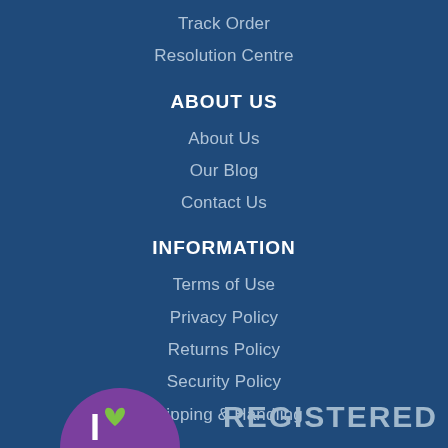Track Order
Resolution Centre
ABOUT US
About Us
Our Blog
Contact Us
INFORMATION
Terms of Use
Privacy Policy
Returns Policy
Security Policy
Shipping & Handling
[Figure (logo): I love heart logo — purple circle with white I and green heart, plus REGISTERED text]